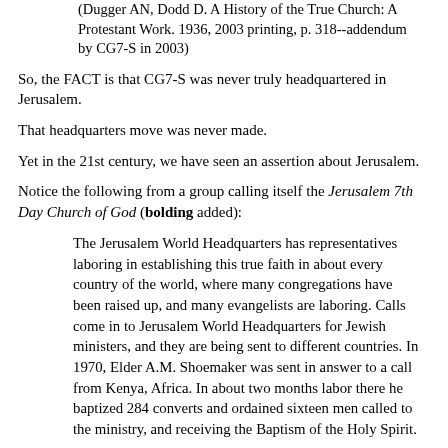(Dugger AN, Dodd D. A History of the True Church: A Protestant Work. 1936, 2003 printing, p. 318--addendum by CG7-S in 2003)
So, the FACT is that CG7-S was never truly headquartered in Jerusalem.
That headquarters move was never made.
Yet in the 21st century, we have seen an assertion about Jerusalem.
Notice the following from a group calling itself the Jerusalem 7th Day Church of God (bolding added):
The Jerusalem World Headquarters has representatives laboring in establishing this true faith in about every country of the world, where many congregations have been raised up, and many evangelists are laboring. Calls come in to Jerusalem World Headquarters for Jewish ministers, and they are being sent to different countries. In 1970, Elder A.M. Shoemaker was sent in answer to a call from Kenya, Africa. In about two months labor there he baptized 284 converts and ordained sixteen men called to the ministry, and receiving the Baptism of the Holy Spirit.